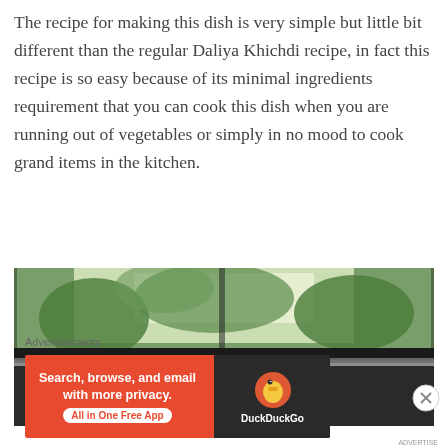The recipe for making this dish is very simple but little bit different than the regular Daliya Khichdi recipe, in fact this recipe is so easy because of its minimal ingredients requirement that you can cook this dish when you are running out of vegetables or simply in no mood to cook grand items in the kitchen.
[Figure (photo): A photograph showing a view through a window with green trees/plants visible outside, and a dark windowsill with what appears to be two white objects in the foreground.]
Advertisements
[Figure (screenshot): DuckDuckGo advertisement banner: orange left section reads 'Search, browse, and email with more privacy.' with 'All in One Free App' button. Dark right section shows DuckDuckGo duck logo and brand name.]